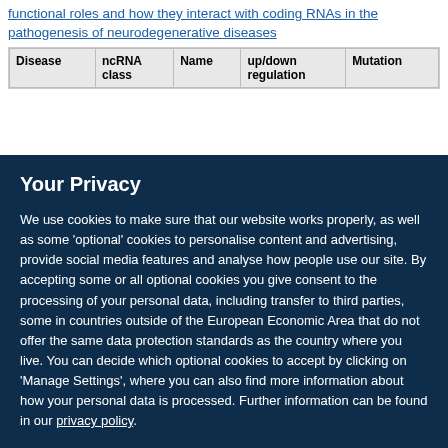...functional roles and how they interact with coding RNAs in the pathogenesis of neurodegenerative diseases
| Disease | ncRNA class | Name | up/down regulation | Mutation |
| --- | --- | --- | --- | --- |
Your Privacy
We use cookies to make sure that our website works properly, as well as some 'optional' cookies to personalise content and advertising, provide social media features and analyse how people use our site. By accepting some or all optional cookies you give consent to the processing of your personal data, including transfer to third parties, some in countries outside of the European Economic Area that do not offer the same data protection standards as the country where you live. You can decide which optional cookies to accept by clicking on 'Manage Settings', where you can also find more information about how your personal data is processed. Further information can be found in our privacy policy.
Accept all cookies
Manage preferences